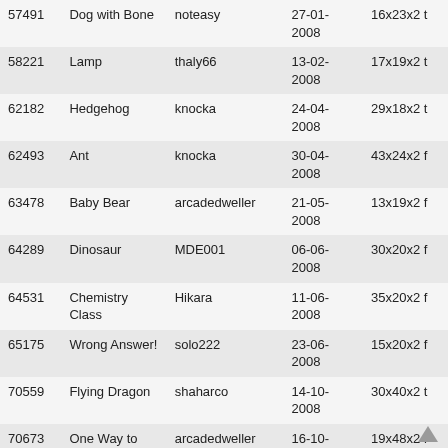| 57491 | Dog with Bone | noteasy | 27-01-2008 | 16x23x2 t |
| 58221 | Lamp | thaly66 | 13-02-2008 | 17x19x2 t |
| 62182 | Hedgehog | knocka | 24-04-2008 | 29x18x2 t |
| 62493 | Ant | knocka | 30-04-2008 | 43x24x2 f |
| 63478 | Baby Bear | arcadedweller | 21-05-2008 | 13x19x2 f |
| 64289 | Dinosaur | MDE001 | 06-06-2008 | 30x20x2 f |
| 64531 | Chemistry Class | Hikara | 11-06-2008 | 35x20x2 f |
| 65175 | Wrong Answer! | solo222 | 23-06-2008 | 15x20x2 f |
| 70559 | Flying Dragon | shaharco | 14-10-2008 | 30x40x2 t |
| 70673 | One Way to Create a Sticky Situation | arcadedweller | 16-10-2008 | 19x48x2 f |
| 71430 | Fry from Futurama | hiphop17 | 05-11-2008 | 30x40x2 f |